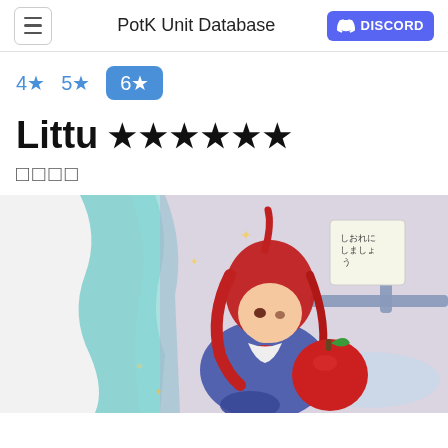PotK Unit Database
4★  5★  6★
Littu ★★★★★★
リトゥ
[Figure (illustration): Anime-style illustration of a red-haired girl in a blue school uniform sitting on a hospital bed, holding a large red apple, with teal curtains in the background and a Japanese note on the wall.]